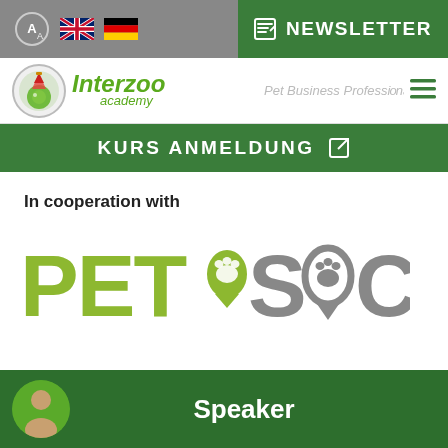Interzoo Academy – Pet Business Professionals
[Figure (logo): Interzoo Academy logo with globe/wizard hat icon and green italic text]
KURS ANMELDUNG
In cooperation with
[Figure (logo): PET SOCIAL logo — PET in green, SOCIAL in gray, with paw print icons replacing O letters]
Speaker